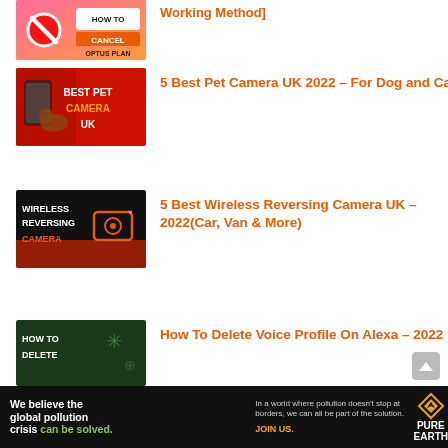[Figure (screenshot): Thumbnail for 'How to Cancel Optus Plan Working Method' - pink/orange gradient with cancel icon and text]
Working Method]
[Figure (screenshot): Thumbnail for '5 Best Pet Camera UK 2022 – For Dog and Cat' - red background with phone and dog]
5 Best Pet Camera UK 2022 – For Dog and Cat
[Figure (screenshot): Thumbnail for '5 Best Wireless Reversing Camera UK – 2022' - dark background with camera icon]
5 Best Wireless Reversing Camera UK – 2022(Car, Van & More)
[Figure (screenshot): Thumbnail for 'How To Delete Voice Profile On Alexa – 2022' - dark green background]
How To Delete Voice Profile On Alexa – 2022
[Figure (other): Advertisement banner for Pure Earth - 'We believe the global pollution crisis can be solved. In a world where pollution doesn't stop at borders, we can all be part of the solution. JOIN US.']